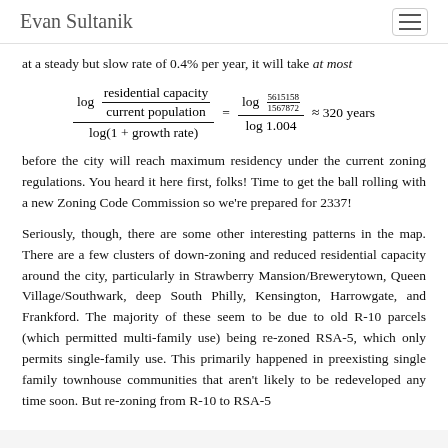Evan Sultanik
at a steady but slow rate of 0.4% per year, it will take at most
before the city will reach maximum residency under the current zoning regulations. You heard it here first, folks! Time to get the ball rolling with a new Zoning Code Commission so we're prepared for 2337!
Seriously, though, there are some other interesting patterns in the map. There are a few clusters of down-zoning and reduced residential capacity around the city, particularly in Strawberry Mansion/Brewerytown, Queen Village/Southwark, deep South Philly, Kensington, Harrowgate, and Frankford. The majority of these seem to be due to old R-10 parcels (which permitted multi-family use) being re-zoned RSA-5, which only permits single-family use. This primarily happened in preexisting single family townhouse communities that aren't likely to be redeveloped any time soon. But re-zoning from R-10 to RSA-5 will constitute an 80 to 70% reduction in residential capacity of